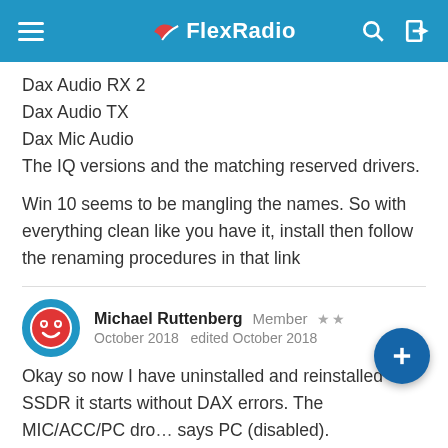FlexRadio
Dax Audio RX 2
Dax Audio TX
Dax Mic Audio
The IQ versions and the matching reserved drivers.
Win 10 seems to be mangling the names.  So with everything clean like you have it, install then follow the renaming procedures in that link
Michael Ruttenberg  Member  ★★
October 2018  edited October 2018
Okay so now I have uninstalled and reinstalled SSDR it starts without DAX errors. The MIC/ACC/PC dro… says PC (disabled).